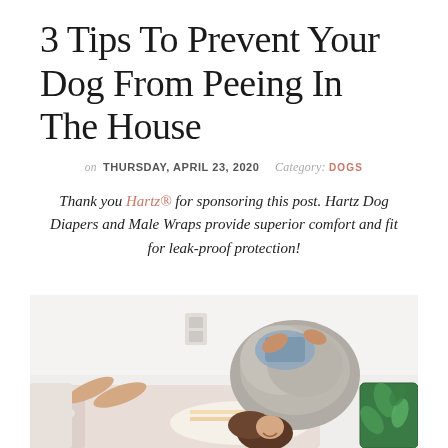3 Tips To Prevent Your Dog From Peeing In The House
on THURSDAY, APRIL 23, 2020   Category: DOGS
Thank you Hartz® for sponsoring this post. Hartz Dog Diapers and Male Wraps provide superior comfort and fit for leak-proof protection!
[Figure (photo): A woman lying on a pink couch playing with a large fluffy gray dog, with a green tropical-print pillow visible. The woman has long brown hair and is smiling.]